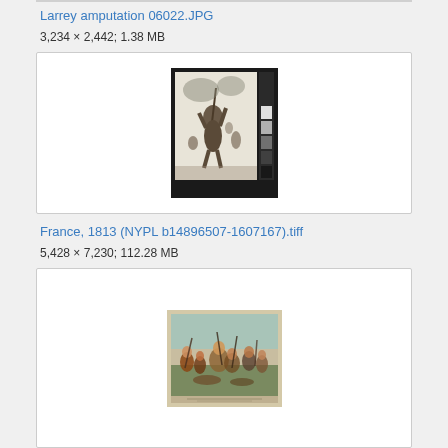Larrey amputation 06022.JPG
3,234 × 2,442; 1.38 MB
[Figure (photo): Black and white photograph/illustration of a warrior figure holding a spear, mounted on a dark photographic plate with color calibration strips on the right side]
France, 1813 (NYPL b14896507-1607167).tiff
5,428 × 7,230; 112.28 MB
[Figure (illustration): Color illustration of a battle scene with multiple figures, on a light tan/cream background, showing chaotic combat with soldiers and horses]